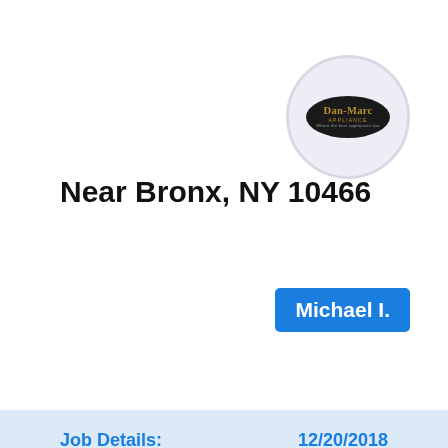[Figure (logo): Dan-Marc Appliance logo in circular ring, dark oval with gold text]
Near Bronx, NY 10466
Michael I.
Job Details:
12/20/2018
WASHER WHIRLPOOL WTW5000DW2 found no errors.
[Figure (logo): Dan-Marc Appliance logo circle (bottom card) with yellow email button overlay]
Near Kinnelon, NJ